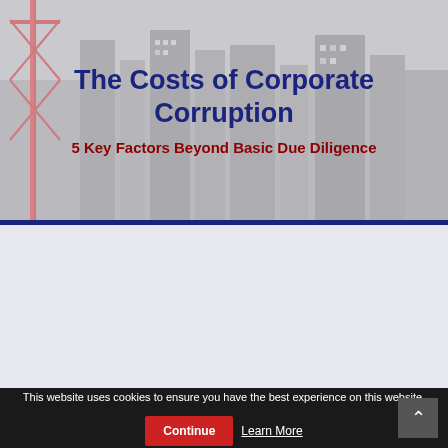[Figure (photo): Black and white aerial photograph of a city skyline with skyscrapers and a red crane/tower structure on the left side, partially tinted gray]
The Costs of Corporate Corruption
5 Key Factors Beyond Basic Due Diligence
This website uses cookies to ensure you have the best experience on this website.
Continue
Learn More